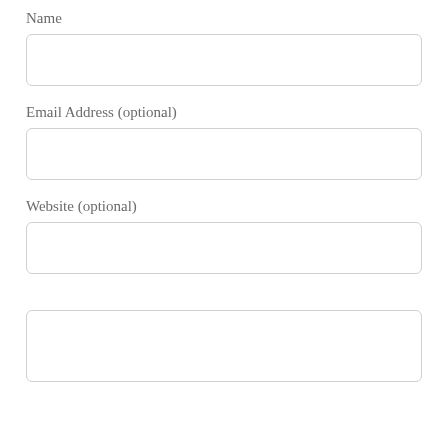Name
[Figure (other): Empty text input field for Name]
Email Address (optional)
[Figure (other): Empty text input field for Email Address]
Website (optional)
[Figure (other): Empty text input field for Website]
[Figure (other): Empty tall text input field (comment/message area)]